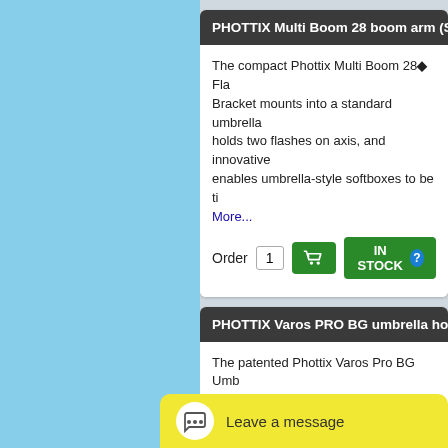PHOTTIX Multi Boom 28 boom arm (S...
The compact Phottix Multi Boom 28 Fla... Bracket mounts into a standard umbrella holds two flashes on axis, and innovative enables umbrella-style softboxes to be ti... More...
Order 1 [cart] IN STOCK
PHOTTIX Varos PRO BG umbrella hold...
The patented Phottix Varos Pro BG Umb... Holder was designed by professional photographers to mount a hot shoe flash umbrella to a light stand or tripod. More...
Order 1 [cart] BACK ORDER
Leave a message